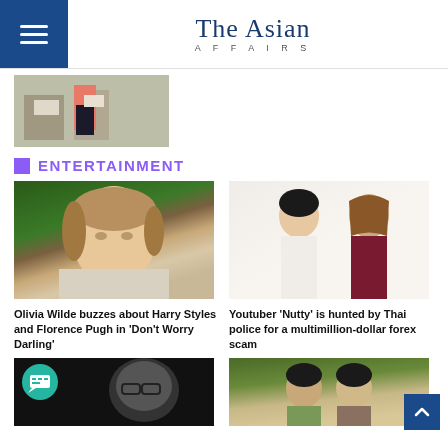The Asian AFFAIRS
[Figure (photo): Partial image of protesters or people holding signs outdoors]
ENTERTAINMENT
[Figure (photo): Olivia Wilde in a blazer outdoors against green hedge background]
Olivia Wilde buzzes about Harry Styles and Florence Pugh in 'Don't Worry Darling'
[Figure (photo): Two women posed together - Youtuber Nutty and companion]
Youtuber ‘Nutty’ is hunted by Thai police for a multimillion-dollar forex scam
[Figure (photo): Black and white image of a man with green chat bubble icon overlay]
[Figure (photo): Couple outdoors in nature setting]